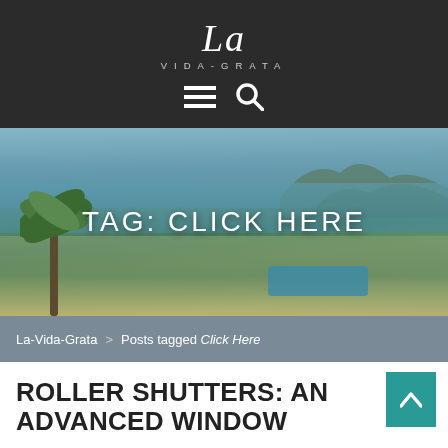La Vida Grata — VIDA-GRATA
[Figure (photo): Aerial coastal resort photo with palm trees, beach, pool, and ocean with hills in the background]
TAG: CLICK HERE
La-Vida-Grata > Posts tagged Click Here
ROLLER SHUTTERS: AN ADVANCED WINDOW